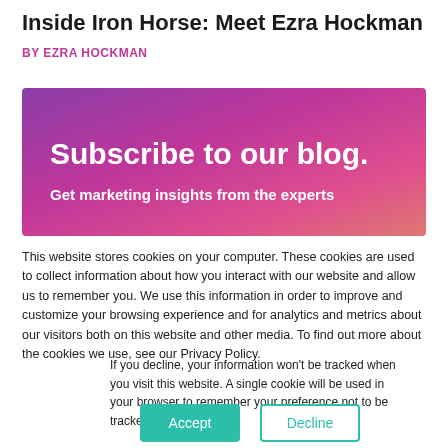Inside Iron Horse: Meet Ezra Hockman
BY EZRA HOCKMAN
[Figure (illustration): Purple-to-pink gradient banner with white bold text reading 'Subscribe to our blog.' and 'Get marketing insights from the experts']
This website stores cookies on your computer. These cookies are used to collect information about how you interact with our website and allow us to remember you. We use this information in order to improve and customize your browsing experience and for analytics and metrics about our visitors both on this website and other media. To find out more about the cookies we use, see our Privacy Policy.
If you decline, your information won't be tracked when you visit this website. A single cookie will be used in your browser to remember your preference not to be tracked.
Accept
Decline